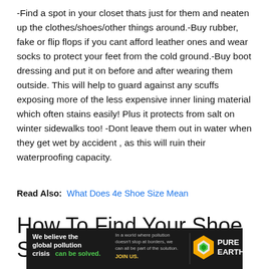-Find a spot in your closet thats just for them and neaten up the clothes/shoes/other things around.-Buy rubber, fake or flip flops if you cant afford leather ones and wear socks to protect your feet from the cold ground.-Buy boot dressing and put it on before and after wearing them outside. This will help to guard against any scuffs exposing more of the less expensive inner lining material which often stains easily! Plus it protects from salt on winter sidewalks too! -Dont leave them out in water when they get wet by accident , as this will ruin their waterproofing capacity.
Read Also:  What Does 4e Shoe Size Mean
How To Find Your Shoe Size In
[Figure (infographic): Advertisement banner for Pure Earth. Black background. Left section: 'We believe the global pollution crisis can be solved.' in white bold text with 'can be solved.' in green. Middle section: 'In a world where pollution doesn't stop at borders, we can all be part of the solution. JOIN US.' in light grey and yellow text. Right section: Pure Earth logo with orange/yellow diamond shape and white/green layered earth icon, with 'PURE EARTH' text in white bold.]